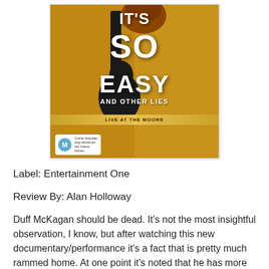[Figure (photo): DVD cover for 'It's So Easy and Other Lies - Live at the Moore'. Shows large white text on a golden/amber background with a guitar silhouette. Bottom left has an Australian M rating badge with text 'Coarse language, drug references and mature themes'.]
Label: Entertainment One
Review By: Alan Holloway
Duff McKagan should be dead. It's not the most insightful observation, I know, but after watching this new documentary/performance it's a fact that is pretty much rammed home. At one point it's noted that he has more lives